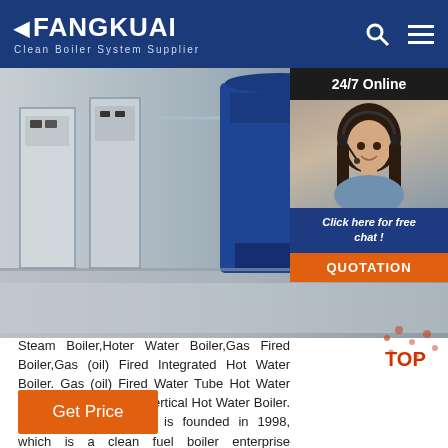FANGKUAI Clean Boiler System Supplier
[Figure (photo): Industrial boiler factory floor with large blue and grey boiler equipment, with a 24/7 online chat widget showing a female customer service representative with headset]
Steam Boiler,Hoter Water Boiler,Gas Fired Boiler,Gas (oil) Fired Integrated Hot Water Boiler. Gas (oil) Fired Water Tube Hot Water Boiler. Gas (oil) Fired Vertical Hot Water Boiler. About Us. FANGKUAI is founded in 1998, which is a clean fuel boiler enterprise integrating R&D, manufacturing, sales and service. In the past 20 years of development and ...
Get Price